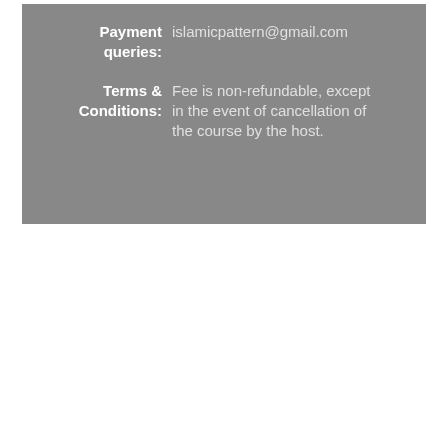Payment queries: islamicpattern@gmail.com
Terms & Conditions: Fee is non-refundable, except in the event of cancellation of the course by the host.